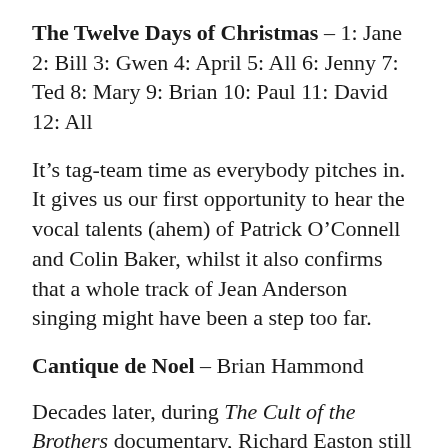The Twelve Days of Christmas – 1: Jane 2: Bill 3: Gwen 4: April 5: All 6: Jenny 7: Ted 8: Mary 9: Brian 10: Paul 11: David 12: All
It's tag-team time as everybody pitches in. It gives us our first opportunity to hear the vocal talents (ahem) of Patrick O'Connell and Colin Baker, whilst it also confirms that a whole track of Jean Anderson singing might have been a step too far.
Cantique de Noel – Brian Hammond
Decades later, during The Cult of the Brothers documentary, Richard Easton still seemed to regard his major contribution to the album with fondness and a little pride. And why not?